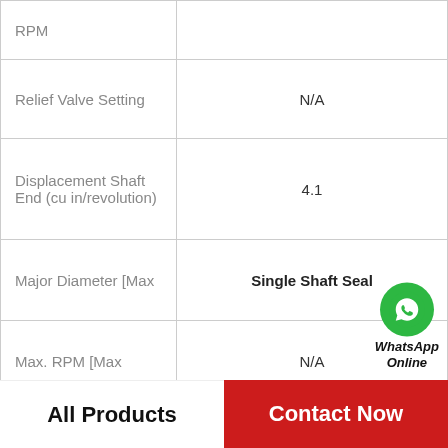| Property | Value |
| --- | --- |
| RPM |  |
| Relief Valve Setting | N/A |
| Displacement Shaft End (cu in/revolution) | 4.1 |
| Major Diameter [Max | Single Shaft Seal |
| Max. RPM [Max | N/A |
| Rotation | 2700 |
| Mounting Flange | 2500 |
| Minor Diameter [Max | N/A |
|  |  |
All Products   Contact Now